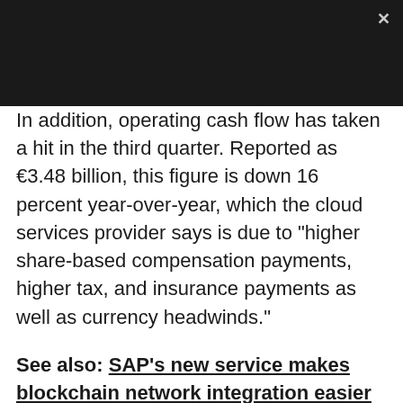In addition, operating cash flow has taken a hit in the third quarter. Reported as €3.48 billion, this figure is down 16 percent year-over-year, which the cloud services provider says is due to "higher share-based compensation payments, higher tax, and insurance payments as well as currency headwinds."
See also: SAP's new service makes blockchain network integration easier
SAP expects a positive impact on financial results through the adoption of IFRS 15, a new accounting and reporting standard, during the course of this